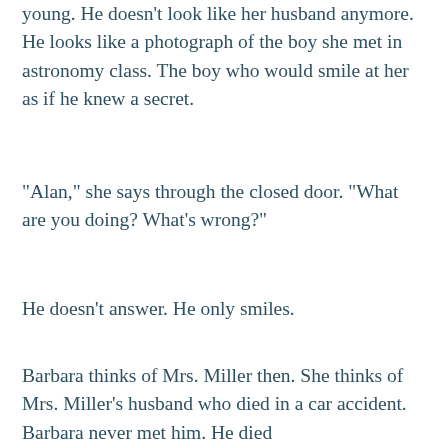young. He doesn't look like her husband anymore. He looks like a photograph of the boy she met in astronomy class. The boy who would smile at her as if he knew a secret.
"Alan," she says through the closed door. "What are you doing? What's wrong?"
He doesn't answer. He only smiles.
Barbara thinks of Mrs. Miller then. She thinks of Mrs. Miller's husband who died in a car accident. Barbara never met him. He died